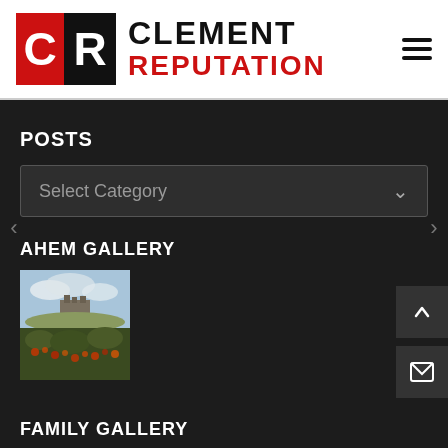[Figure (logo): Clement Reputation logo with CR initials in red and black boxes, and brand name text]
POSTS
Select Category
AHEM GALLERY
[Figure (photo): Thumbnail photo showing an outdoor landscape with sky and structures]
FAMILY GALLERY